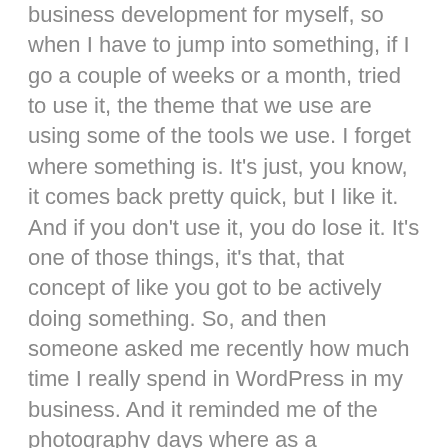business development for myself, so when I have to jump into something, if I go a couple of weeks or a month, tried to use it, the theme that we use are using some of the tools we use. I forget where something is. It's just, you know, it comes back pretty quick, but I like it. And if you don't use it, you do lose it. It's one of those things, it's that, that concept of like you got to be actively doing something. So, and then someone asked me recently how much time I really spend in WordPress in my business. And it reminded me of the photography days where as a photographer, I would shoot 25% of the time. The rest of the time was business development – managing the process, getting clients, processing photos, that type of thing. The actual doing the thing as you own the company becomes less. So me, inside of WordPress I probably spend 30%, 25, 30% inside on the back end. I think it might be at a bare minimum, sometimes more, sometimes less. When it goes less is if you do too less, which is really poor English and you